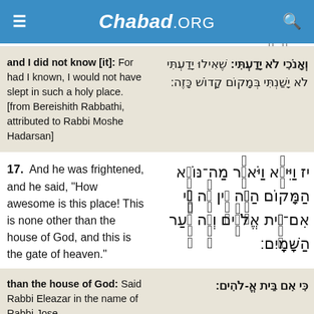Chabad.ORG
Hebrew partial line (top)
and I did not know [it]: For had I known, I would not have slept in such a holy place. [from Bereishith Rabbathi, attributed to Rabbi Moshe Hadarsan]
ואנכי לא ידעתי: שאילו ידעתי לא ישנתי במקום קדוש כזה:
17. And he was frightened, and he said, "How awesome is this place! This is none other than the house of God, and this is the gate of heaven."
יז וַיִּירָא וַיֹּאמַר מַה־נּוֹרָא הַמָּקוֹם הַזֶּה אֵין זֶה כִּי אִם־בֵּית אֱלֹהִים וְזֶה שַׁעַר הַשָּׁמָיִם:
than the house of God: Said Rabbi Eleazar in the name of Rabbi Jose
כי אם בית א-להים: